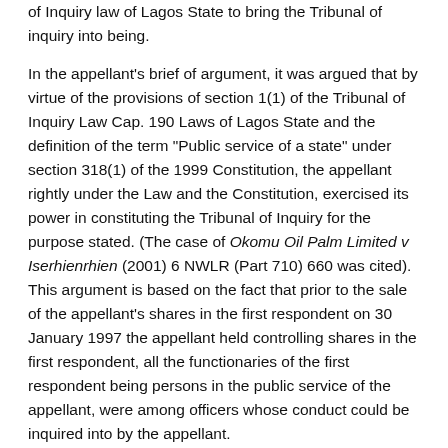of Inquiry law of Lagos State to bring the Tribunal of inquiry into being.
In the appellant's brief of argument, it was argued that by virtue of the provisions of section 1(1) of the Tribunal of Inquiry Law Cap. 190 Laws of Lagos State and the definition of the term "Public service of a state" under section 318(1) of the 1999 Constitution, the appellant rightly under the Law and the Constitution, exercised its power in constituting the Tribunal of Inquiry for the purpose stated. (The case of Okomu Oil Palm Limited v Iserhienrhien (2001) 6 NWLR (Part 710) 660 was cited). This argument is based on the fact that prior to the sale of the appellant's shares in the first respondent on 30 January 1997 the appellant held controlling shares in the first respondent, all the functionaries of the first respondent being persons in the public service of the appellant, were among officers whose conduct could be inquired into by the appellant.
The respondents have, however, contended that since the first respondent has been the subject of a private enterprise in the...